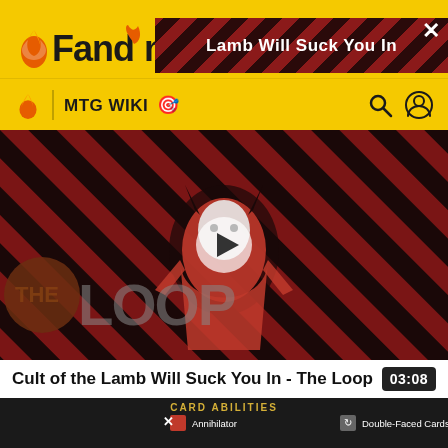[Figure (screenshot): Fandom website header with yellow background showing Fandom logo and MTG Wiki navigation bar]
Lamb Will Suck You In
[Figure (screenshot): Video thumbnail for 'Cult of the Lamb Will Suck You In - The Loop' showing a cartoon lamb character on striped red/dark background with THE LOOP text and a play button]
Cult of the Lamb Will Suck You In - The Loop
03:08
[Figure (screenshot): Video thumbnail showing Card Abilities screen with Annihilator, Can't Be Blocked, Can't Block, Double-Faced Cards, Double Strike, and Exile entries with icons on dark background]